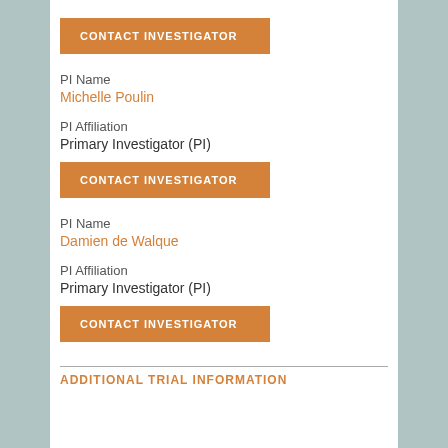CONTACT INVESTIGATOR
PI Name
Michelle Poulin
PI Affiliation
Primary Investigator (PI)
CONTACT INVESTIGATOR
PI Name
Damien de Walque
PI Affiliation
Primary Investigator (PI)
CONTACT INVESTIGATOR
ADDITIONAL TRIAL INFORMATION